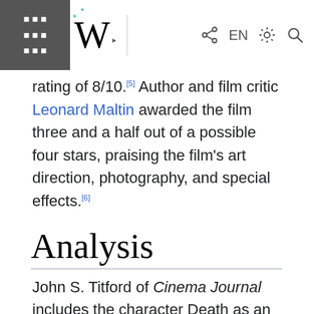Wikipedia mobile header with menu, logo (W), share, EN, settings, search icons
rating of 8/10.[5] Author and film critic Leonard Maltin awarded the film three and a half out of a possible four stars, praising the film's art direction, photography, and special effects.[6]
Analysis
John S. Titford of Cinema Journal includes the character Death as an example of Lang's thematic interest with humans acting as machines.[7] He argues that characters like Death "take on the quality of symbols, become archetypes of sub-human forces who embody the concept of Destiny, or the threat to the German nation in the years immediately after the first World War."[7]
The ghost-like appearance of Death is a recurring